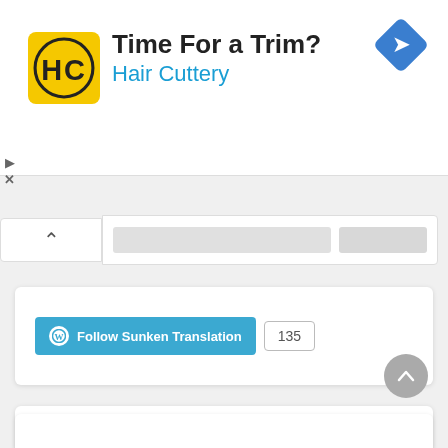[Figure (infographic): Hair Cuttery advertisement banner with yellow square logo showing 'HC', heading 'Time For a Trim?', subtext 'Hair Cuttery' in blue, and blue diamond navigation arrow icon on right]
[Figure (screenshot): Collapse/expand chevron button (^) on left, and an input bar with placeholder and button on right]
[Figure (infographic): WordPress Follow widget: teal 'Follow Sunken Translation' button with WordPress logo and count badge showing 135]
[Figure (infographic): Patreon widget card: heading 'Get additional chapters instantly!' with blue underline, orange 'BECOME A PATRON' button with Patreon logo]
[Figure (infographic): Scroll-to-top circular gray button with upward arrow, and partial bottom white card]